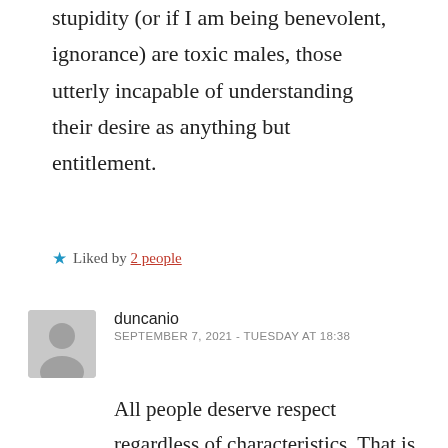stupidity (or if I am being benevolent, ignorance) are toxic males, those utterly incapable of understanding their desire as anything but entitlement.
★ Liked by 2 people
duncanio
SEPTEMBER 7, 2021 - TUESDAY AT 18:38
All people deserve respect regardless of characteristics. That is the default. So far so non-controversial and platitudinous.

I understand that people feel do